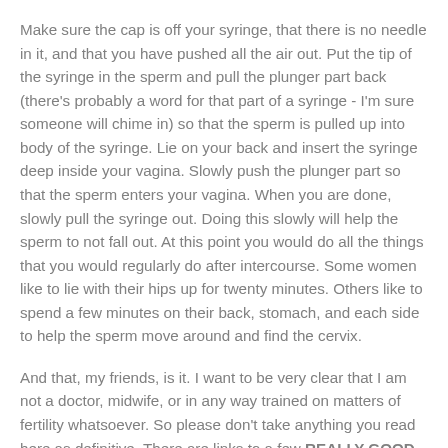Make sure the cap is off your syringe, that there is no needle in it, and that you have pushed all the air out. Put the tip of the syringe in the sperm and pull the plunger part back (there's probably a word for that part of a syringe - I'm sure someone will chime in) so that the sperm is pulled up into body of the syringe. Lie on your back and insert the syringe deep inside your vagina. Slowly push the plunger part so that the sperm enters your vagina. When you are done, slowly pull the syringe out. Doing this slowly will help the sperm to not fall out. At this point you would do all the things that you would regularly do after intercourse. Some women like to lie with their hips up for twenty minutes. Others like to spend a few minutes on their back, stomach, and each side to help the sperm move around and find the cervix.
And that, my friends, is it. I want to be very clear that I am not a doctor, midwife, or in any way trained on matters of fertility whatsoever. So please don't take anything you read here as definitive. There are links to a few REALLY GOOD books below. Read those and talk to your own health care providers!